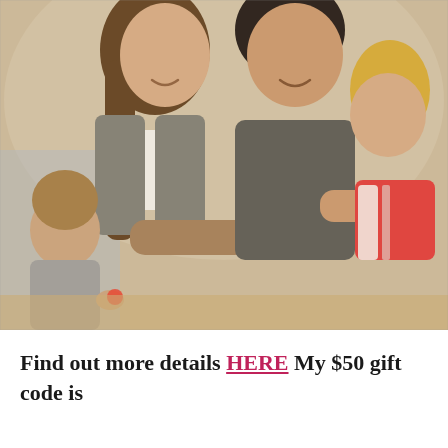[Figure (photo): A happy family — a woman and a man — leaning over a table with two young children, playing or cooking together. The woman has long brown hair and is wearing a grey jacket over a white top. The man is in a dark grey shirt. One child is a toddler boy with light brown hair, the other is a young girl wearing a red shirt and white striped apron. They appear to be handling small red objects (tomatoes or similar). The background is bright and warm-toned.]
Find out more details HERE My $50 gift code is